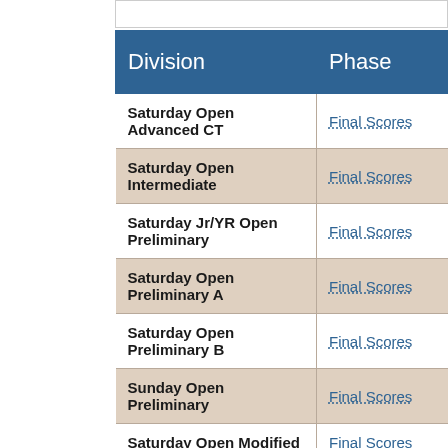| Division | Phase |
| --- | --- |
| Saturday Open Advanced CT | Final Scores |
| Saturday Open Intermediate | Final Scores |
| Saturday Jr/YR Open Preliminary | Final Scores |
| Saturday Open Preliminary A | Final Scores |
| Saturday Open Preliminary B | Final Scores |
| Sunday Open Preliminary | Final Scores |
| Saturday Open Modified | Final Scores |
| Sunday Open Modified | Final Scores |
| Saturday Jr/YR Open Training | Final Scores |
| Saturday Open Training A | Final Scores |
| Saturday Open Training B | Final Scores |
| Sunday Jr/YR Open Training | Final Scores |
| Sunday Open Training A | Final Scores |